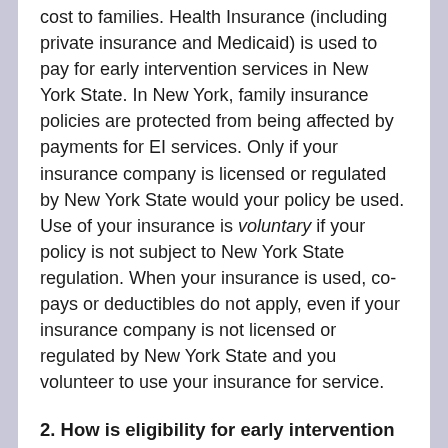cost to families. Health Insurance (including private insurance and Medicaid) is used to pay for early intervention services in New York State. In New York, family insurance policies are protected from being affected by payments for EI services. Only if your insurance company is licensed or regulated by New York State would your policy be used. Use of your insurance is voluntary if your policy is not subject to New York State regulation. When your insurance is used, co-pays or deductibles do not apply, even if your insurance company is not licensed or regulated by New York State and you volunteer to use your insurance for service.
2. How is eligibility for early intervention services determined?
All children are entitled to a free multidisciplinary evaluation to determine eligibility. Children with a diagnosed condition (i.e. Down syndrome) will always be eligible for services, however an